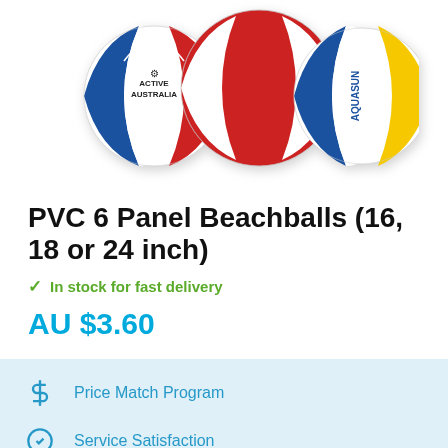[Figure (photo): Three branded PVC 6-panel beachballs: Active Australia (blue/white/red), a red/white branded ball, and Aquasun (blue/white/yellow)]
PVC 6 Panel Beachballs (16, 18 or 24 inch)
In stock for fast delivery
AU $3.60
Price Match Program
Service Satisfaction
Australian Owned